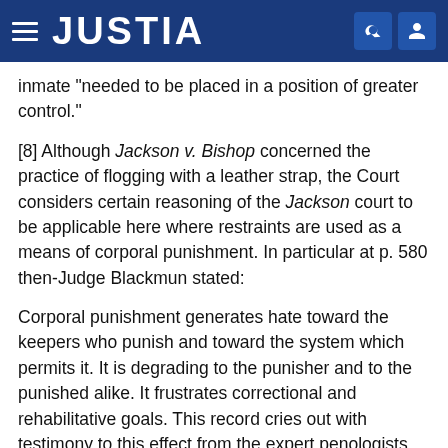JUSTIA
inmate "needed to be placed in a position of greater control."
[8] Although Jackson v. Bishop concerned the practice of flogging with a leather strap, the Court considers certain reasoning of the Jackson court to be applicable here where restraints are used as a means of corporal punishment. In particular at p. 580 then-Judge Blackmun stated:
Corporal punishment generates hate toward the keepers who punish and toward the system which permits it. It is degrading to the punisher and to the punished alike. It frustrates correctional and rehabilitative goals. This record cries out with testimony to this effect from the expert penologists, from the inmates and from their keepers.